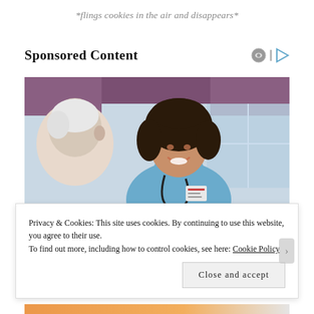*flings cookies in the air and disappears*
Sponsored Content
[Figure (photo): A smiling young female nurse in blue scrubs with a stethoscope talking to an elderly male patient. Background shows a window with purple curtains.]
Privacy & Cookies: This site uses cookies. By continuing to use this website, you agree to their use.
To find out more, including how to control cookies, see here: Cookie Policy
Close and accept